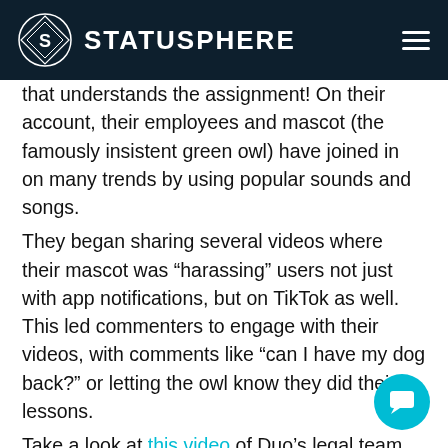STATUSPHERE
that understands the assignment! On their account, their employees and mascot (the famously insistent green owl) have joined in on many trends by using popular sounds and songs.
They began sharing several videos where their mascot was “harassing” users not just with app notifications, but on TikTok as well. This led commenters to engage with their videos, with comments like “can I have my dog back?” or letting the owl know they did their lessons.
Take a look at this video of Duo’s legal team marching behind him to the beat of a pop sound after seeing his TikToks. This is a gr example of how Duolingo joined in some